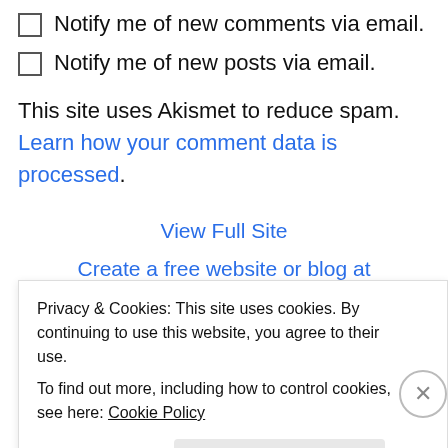Notify me of new comments via email.
Notify me of new posts via email.
This site uses Akismet to reduce spam. Learn how your comment data is processed.
View Full Site
Create a free website or blog at WordPress.com.
Advertisements
[Figure (other): Blue-to-purple gradient advertisement banner]
Privacy & Cookies: This site uses cookies. By continuing to use this website, you agree to their use.
To find out more, including how to control cookies, see here: Cookie Policy
Close and accept